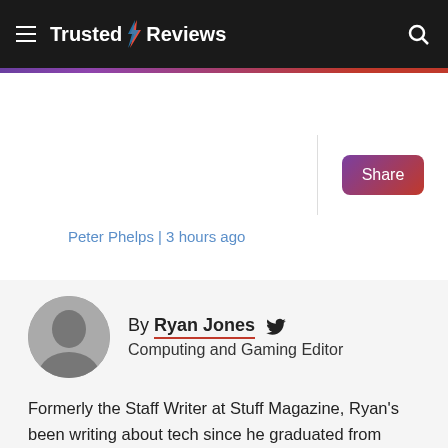Trusted Reviews
Peter Phelps | 3 hours ago
By Ryan Jones
Computing and Gaming Editor
Formerly the Staff Writer at Stuff Magazine, Ryan's been writing about tech since he graduated from Cardiff University. At Trusted Reviews he is focused on everything computer-related, giving him a va...